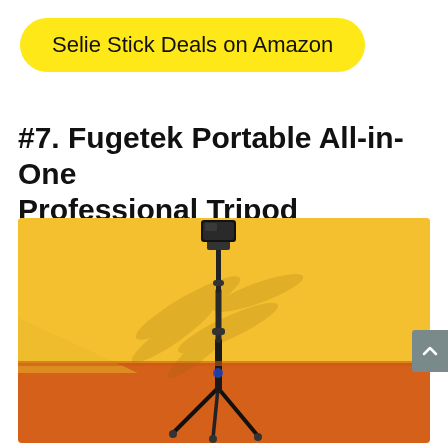Selie Stick Deals on Amazon
#7. Fugetek Portable All-in-One Professional Tripod
[Figure (photo): A black tripod with a smartphone mounted at the top, standing against a yellow and orange painted wall background]